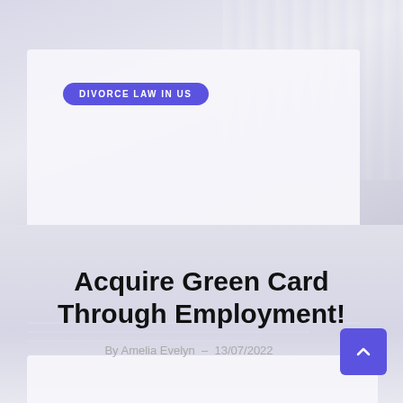[Figure (photo): Background photo of a bright interior with curtains/drapes, light grey-blue tones, with a white card overlay in the upper portion of the page]
DIVORCE LAW IN US
Acquire Green Card Through Employment!
By Amelia Evelyn  –  13/07/2022